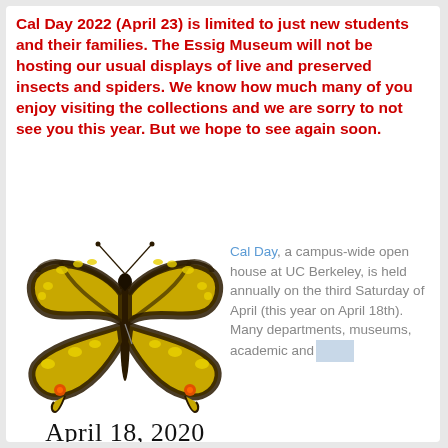Cal Day 2022 (April 23) is limited to just new students and their families. The Essig Museum will not be hosting our usual displays of live and preserved insects and spiders. We know how much many of you enjoy visiting the collections and we are sorry to not see you this year. But we hope to see again soon.
[Figure (illustration): A pinned specimen of a Swallowtail butterfly (yellow and black) displayed with wings spread, viewed from above.]
April 18, 2020
Cal Day, a campus-wide open house at UC Berkeley, is held annually on the third Saturday of April (this year on April 18th). Many departments, museums, academic and